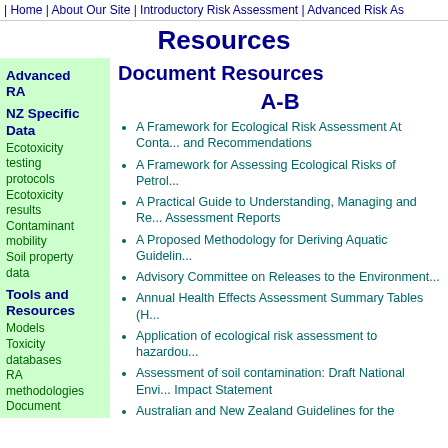| Home | About Our Site | Introductory Risk Assessment | Advanced Risk As...
Resources
Document Resources
Advanced RA
NZ Specific Data
Ecotoxicity testing protocols
Ecotoxicity results
Contaminant mobility
Soil property data
Tools and Resources
Models
Toxicity databases
RA methodologies
Document resources
Alphabetical list
Descriptions
Framework [Type 2.0]
A-B
A Framework for Ecological Risk Assessment At Conta... and Recommendations
A Framework for Assessing Ecological Risks of Petro...
A Practical Guide to Understanding, Managing and Re... Assessment Reports
A Proposed Methodology for Deriving Aquatic Guidelin...
Advisory Committee on Releases to the Environment...
Annual Health Effects Assessment Summary Tables (H...
Application of ecological risk assessment to hazardou...
Assessment of soil contamination: Draft National Envi... Impact Statement
Australian and New Zealand Guidelines for the Assess... Contaminated Sites
Australian Water Quality Guidelines for Fresh and Mar...
C